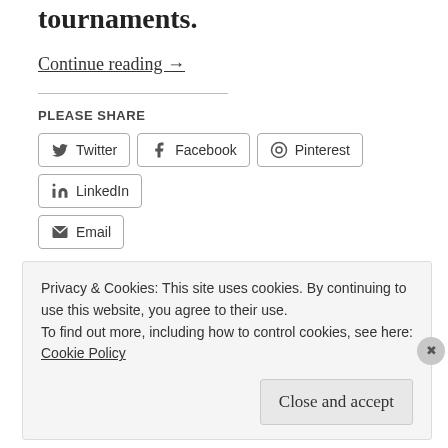tournaments.
Continue reading →
PLEASE SHARE
Twitter  Facebook  Pinterest  LinkedIn  Email
Loading...
Privacy & Cookies: This site uses cookies. By continuing to use this website, you agree to their use.
To find out more, including how to control cookies, see here: Cookie Policy
Close and accept